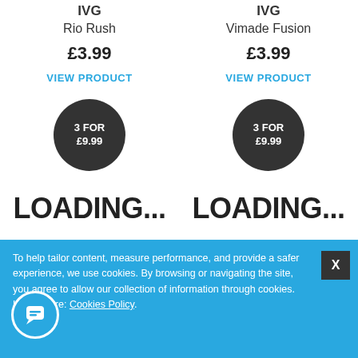IVG
Rio Rush
£3.99
VIEW PRODUCT
IVG
Vimade Fusion
£3.99
VIEW PRODUCT
[Figure (other): Dark circular badge showing '3 FOR £9.99' promotional offer - left product]
[Figure (other): Dark circular badge showing '3 FOR £9.99' promotional offer - right product]
LOADING...
LOADING...
To help tailor content, measure performance, and provide a safer experience, we use cookies. By browsing or navigating the site, you agree to allow our collection of information through cookies. Learn more: Cookies Policy.